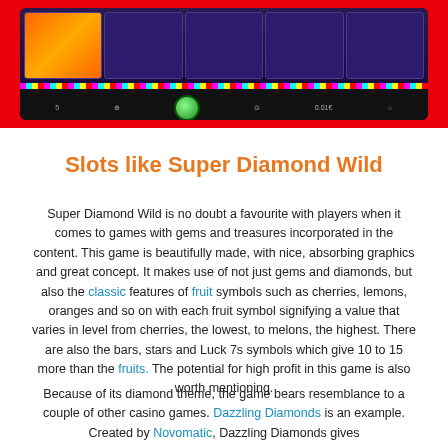[Figure (screenshot): Screenshot of a slot machine game (Super Diamond Wild) with colorful reels showing fruit and gem symbols, a green spin button, and control panel, all framed in a red rounded border.]
Slots like Super Diamond Wild
Super Diamond Wild is no doubt a favourite with players when it comes to games with gems and treasures incorporated in the content. This game is beautifully made, with nice, absorbing graphics and great concept. It makes use of not just gems and diamonds, but also the classic features of fruit symbols such as cherries, lemons, oranges and so on with each fruit symbol signifying a value that varies in level from cherries, the lowest, to melons, the highest. There are also the bars, stars and Luck 7s symbols which give 10 to 15 more than the fruits. The potential for high profit in this game is also worth mentioning.
Because of its diamond theme, the game bears resemblance to a couple of other casino games. Dazzling Diamonds is an example. Created by Novomatic, Dazzling Diamonds gives